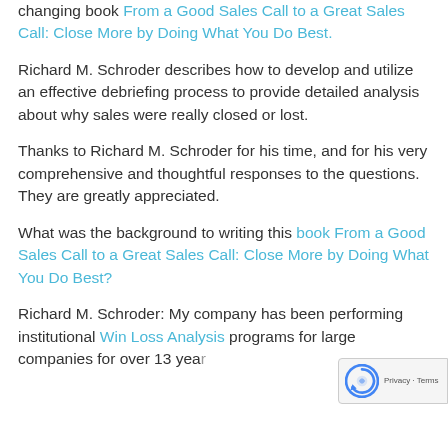changing book From a Good Sales Call to a Great Sales Call: Close More by Doing What You Do Best.
Richard M. Schroder describes how to develop and utilize an effective debriefing process to provide detailed analysis about why sales were really closed or lost.
Thanks to Richard M. Schroder for his time, and for his very comprehensive and thoughtful responses to the questions. They are greatly appreciated.
What was the background to writing this book From a Good Sales Call to a Great Sales Call: Close More by Doing What You Do Best?
Richard M. Schroder: My company has been performing institutional Win Loss Analysis programs for large companies for over 13 yea... Typically speaking I have had to shorten to that...